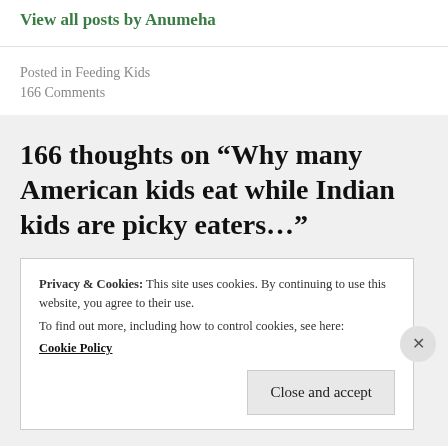View all posts by Anumeha
Posted in Feeding Kids
166 Comments
166 thoughts on “Why many American kids eat while Indian kids are picky eaters…”
Privacy & Cookies: This site uses cookies. By continuing to use this website, you agree to their use.
To find out more, including how to control cookies, see here:
Cookie Policy
Close and accept